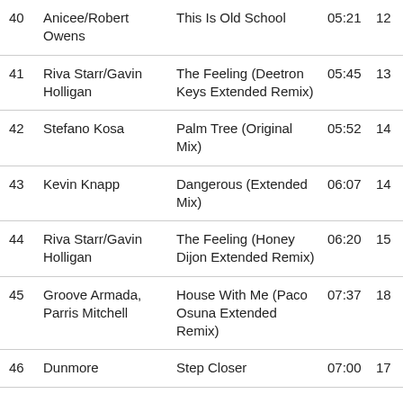| # | Artist | Title | Duration | ? |
| --- | --- | --- | --- | --- |
| 40 | Anicee/Robert Owens | This Is Old School | 05:21 | 12 |
| 41 | Riva Starr/Gavin Holligan | The Feeling (Deetron Keys Extended Remix) | 05:45 | 13 |
| 42 | Stefano Kosa | Palm Tree (Original Mix) | 05:52 | 14 |
| 43 | Kevin Knapp | Dangerous (Extended Mix) | 06:07 | 14 |
| 44 | Riva Starr/Gavin Holligan | The Feeling (Honey Dijon Extended Remix) | 06:20 | 15 |
| 45 | Groove Armada, Parris Mitchell | House With Me (Paco Osuna Extended Remix) | 07:37 | 18 |
| 46 | Dunmore | Step Closer | 07:00 | 17 |